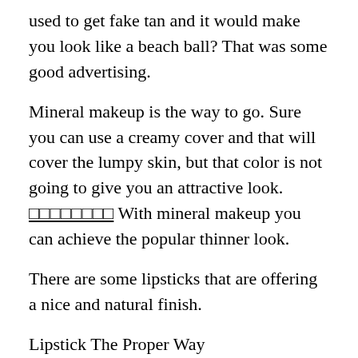used to get fake tan and it would make you look like a beach ball? That was some good advertising.
Mineral makeup is the way to go. Sure you can use a creamy cover and that will cover the lumpy skin, but that color is not going to give you an attractive look.          With mineral makeup you can achieve the popular thinner look.
There are some lipsticks that are offering a nice and natural finish.
Lipstick The Proper Way
Do you not drown your lips in red? Make your lips stand out by blending a neutral color on the bottom and the top portions of your lips.
sunset is the perfect time to make your lips stand